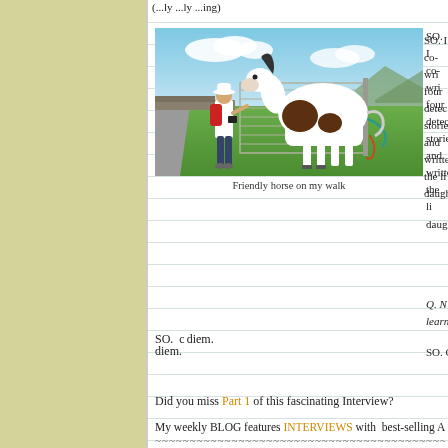[Figure (photo): Person in white hat and red backpack feeding or greeting a brown and white horse over a metal gate on a rural road in Ireland, with green hills and blue sky in the background.]
Friendly horse on my walk
SO. co-written four detective stories and written the li... daugh...
Q. N... learned...
SO. C... diem.
Did you miss Part 1 of this fascinating Interview?
~~~~~~~~~~~~~~~~~~~~~~~~~~~~~~~~~~~~~~~~~~~~~~~~~~~~~~~~~~~~
My weekly BLOG features INTERVIEWS with best-selling AU...